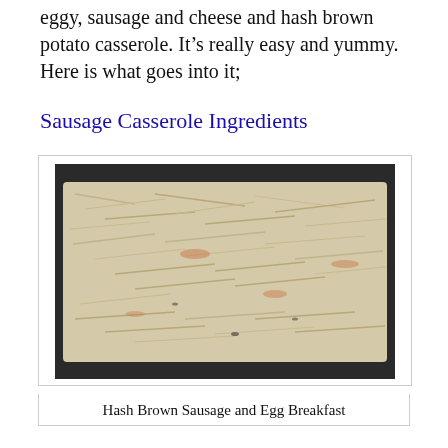eggy, sausage and cheese and hash brown potato casserole. It's really easy and yummy. Here is what goes into it;
Sausage Casserole Ingredients
[Figure (photo): A baking dish filled with shredded hash brown potatoes, ready for the casserole.]
Hash Brown Sausage and Egg Breakfast